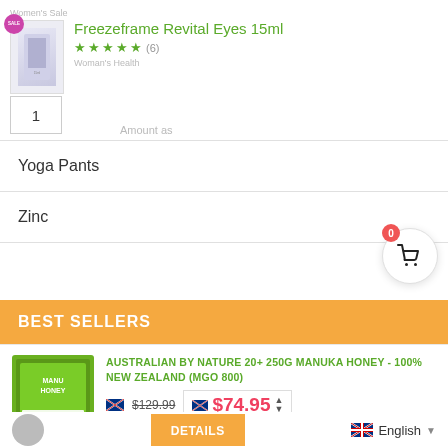[Figure (screenshot): Product listing for Freezeframe Revital Eyes 15ml with star rating, quantity box, list items Yoga Pants and Zinc, cart icon, Best Sellers section with Manuka Honey product, pricing and Details button]
Freezeframe Revital Eyes 15ml
★★★★★ (6)
1
Yoga Pants
Zinc
BEST SELLERS
AUSTRALIAN BY NATURE 20+ 250G MANUKA HONEY - 100% NEW ZEALAND (MGO 800)
$129.99
$74.95
DETAILS
English